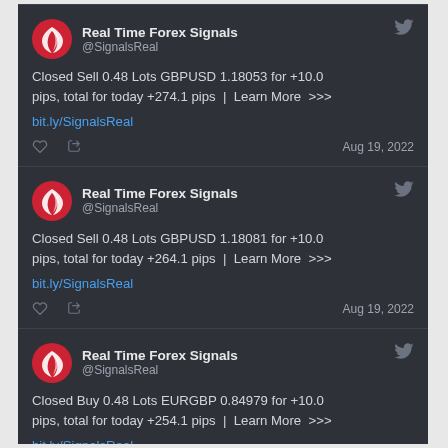[Figure (screenshot): Twitter/social media feed screenshot showing three tweets from Real Time Forex Signals (@SignalsReal) dated Aug 19, 2022, reporting closed forex trades with pip totals.]
Real Time Forex Signals
@SignalsReal
Closed Sell 0.48 Lots GBPUSD 1.18053 for +10.0 pips, total for today +274.1 pips  |  Learn More  >>>
bit.ly/SignalsReal
Aug 19, 2022
Real Time Forex Signals
@SignalsReal
Closed Sell 0.48 Lots GBPUSD 1.18081 for +10.0 pips, total for today +264.1 pips  |  Learn More  >>>
bit.ly/SignalsReal
Aug 19, 2022
Real Time Forex Signals
@SignalsReal
Closed Buy 0.48 Lots EURGBP 0.84979 for +10.0 pips, total for today +254.1 pips  |  Learn More  >>>
bit.ly/SignalsReal